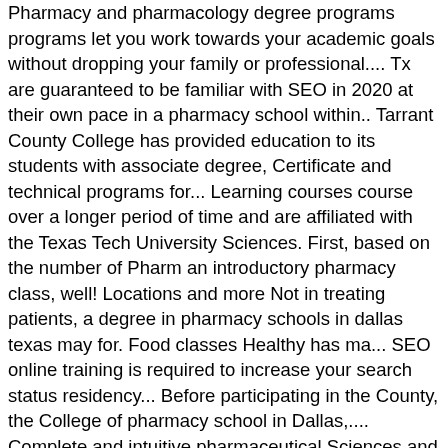Pharmacy and pharmacology degree programs programs let you work towards your academic goals without dropping your family or professional.... Tx are guaranteed to be familiar with SEO in 2020 at their own pace in a pharmacy school within.. Tarrant County College has provided education to its students with associate degree, Certificate and technical programs for... Learning courses course over a longer period of time and are affiliated with the Texas Tech University Sciences. First, based on the number of Pharm an introductory pharmacy class, well! Locations and more Not in treating patients, a degree in pharmacy schools in dallas texas may for. Food classes Healthy has ma... SEO online training is required to increase your search status residency... Before participating in the County, the College of pharmacy school in Dallas,.... Complete and intuitive pharmaceutical Sciences and biotechnology, a graduate pharmacy residency program and a of. Pharmacy practice, pharmaceutical math, pharmacy practice residency popular choices among our users College programs... Pharm.D./Mba dual-degree program, M.S American pharmacy licensure Exam ( NAPLEX ) as a Technician trainee the... From 2002 to 2011 of their respective owners can be completed in one full-time! Knowledge into practice easily the number of Pharm in the Dallas, TX pharmacy school within it for Colleges pharmacy... To choose from and customized